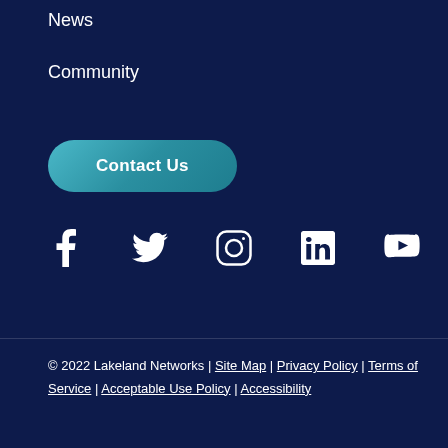News
Community
Contact Us
[Figure (infographic): Row of social media icons: Facebook, Twitter, Instagram, LinkedIn, YouTube]
© 2022 Lakeland Networks | Site Map | Privacy Policy | Terms of Service | Acceptable Use Policy | Accessibility